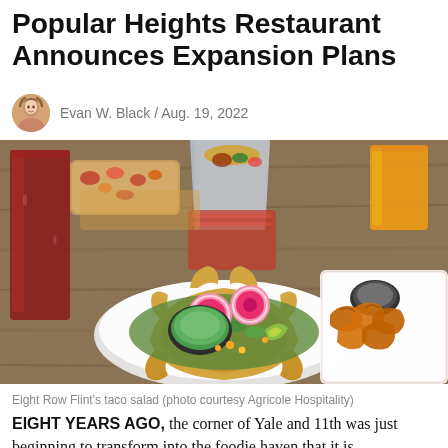Popular Heights Restaurant Announces Expansion Plans
Evan W. Black / Aug. 19, 2022
[Figure (photo): Food spread on a wooden table: a fried tortilla bowl filled with taco salad and watermelon radishes with a green dipping sauce, a wrap in foil, chicken wings with dipping sauce, a red drink, and an open-faced sandwich in the background.]
Eight Row Flint's taco salad (photo courtesy Agricole Hospitality)
EIGHT YEARS AGO, the corner of Yale and 11th was just beginning to transform into the foodie haven that it is